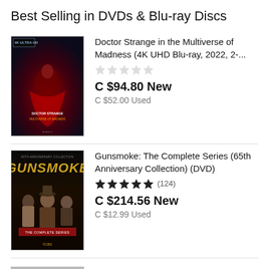Best Selling in DVDs & Blu-ray Discs
[Figure (photo): Doctor Strange in the Multiverse of Madness 4K UHD Blu-ray movie cover with red and dark blue tones]
Doctor Strange in the Multiverse of Madness (4K UHD Blu-ray, 2022, 2-...
★★★★★ (no rating shown, empty stars)
C $94.80 New
C $52.00 Used
[Figure (photo): Gunsmoke: The Complete Series 65th Anniversary Collection DVD cover with gold text and western characters]
Gunsmoke: The Complete Series (65th Anniversary Collection) (DVD)
★★★★★ (124)
C $214.56 New
C $12.99 Used
The Warriors (Limited Edition) (Blu-ray, 1979)
★★★★★ (partial stars visible at bottom)